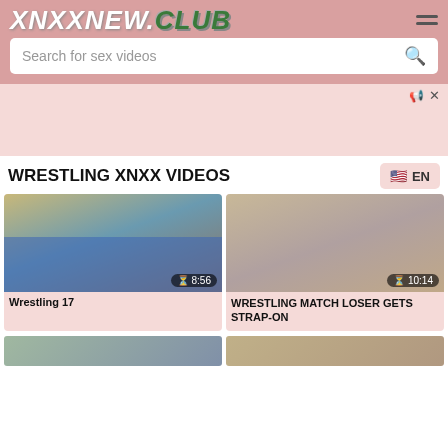XNXXNEW.CLUB
Search for sex videos
WRESTLING XNXX VIDEOS
[Figure (screenshot): Video thumbnail left: Wrestling 17, duration 8:56]
Wrestling 17
[Figure (screenshot): Video thumbnail right: WRESTLING MATCH LOSER GETS STRAP-ON, duration 10:14]
WRESTLING MATCH LOSER GETS STRAP-ON